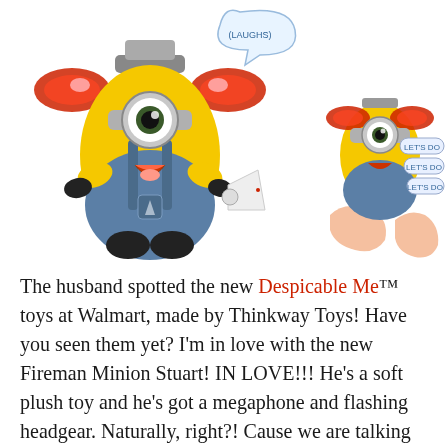[Figure (photo): Two Fireman Minion Stuart plush toys from Despicable Me by Thinkway Toys. The larger one on the left is standing upright holding a megaphone with flashing red headgear lights and a speech bubble saying (LAUGHS). The smaller one on the right is being held by a child's hands with bubble text saying LET'S DO LET'S DO LET'S DO.]
The husband spotted the new Despicable Me™ toys at Walmart, made by Thinkway Toys! Have you seen them yet? I'm in love with the new Fireman Minion Stuart! IN LOVE!!! He's a soft plush toy and he's got a megaphone and flashing headgear. Naturally, right?! Cause we are talking about Minion Stuart here! You just press his tummy or hands and you